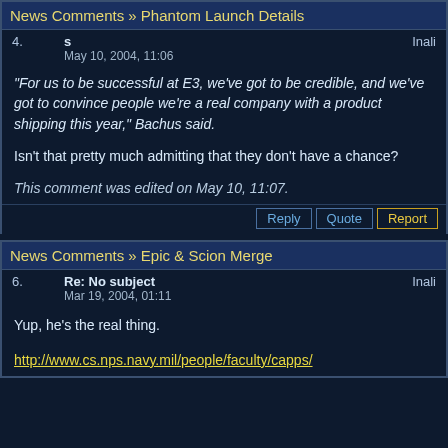News Comments » Phantom Launch Details
4.    s    Inali
May 10, 2004, 11:06
"For us to be successful at E3, we've got to be credible, and we've got to convince people we're a real company with a product shipping this year," Bachus said.

Isn't that pretty much admitting that they don't have a chance?

This comment was edited on May 10, 11:07.
News Comments » Epic & Scion Merge
6.    Re: No subject    Inali
Mar 19, 2004, 01:11
Yup, he's the real thing.

http://www.cs.nps.navy.mil/people/faculty/capps/